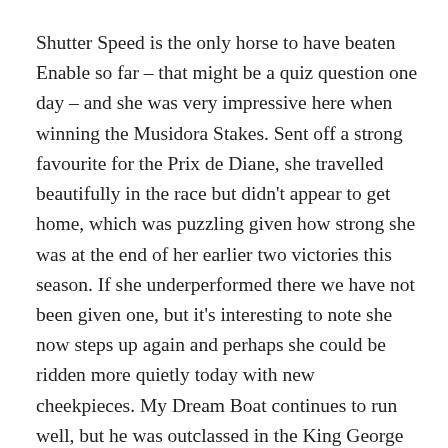Shutter Speed is the only horse to have beaten Enable so far – that might be a quiz question one day – and she was very impressive here when winning the Musidora Stakes. Sent off a strong favourite for the Prix de Diane, she travelled beautifully in the race but didn't appear to get home, which was puzzling given how strong she was at the end of her earlier two victories this season. If she underperformed there we have not been given one, but it's interesting to note she now steps up again and perhaps she could be ridden more quietly today with new cheekpieces. My Dream Boat continues to run well, but he was outclassed in the King George and would want more rain.
The Great Voltiegur (3.00) also looks to be a classy renewal, with Derby third and Irish Derby second Cracksman a worthy favourite. This uncomplicated track ought to be a godsend for